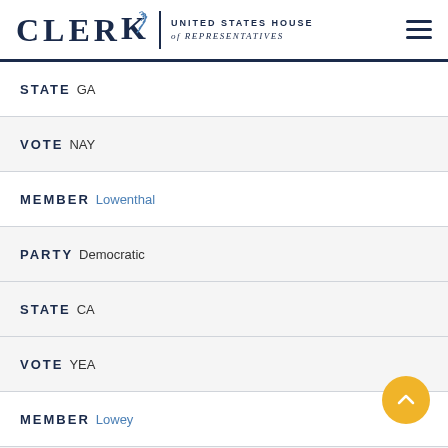CLERK United States House of Representatives
STATE GA
VOTE NAY
MEMBER Lowenthal
PARTY Democratic
STATE CA
VOTE YEA
MEMBER Lowey